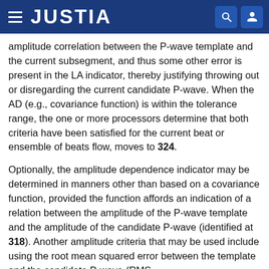JUSTIA
amplitude correlation between the P-wave template and the current subsegment, and thus some other error is present in the LA indicator, thereby justifying throwing out or disregarding the current candidate P-wave. When the AD (e.g., covariance function) is within the tolerance range, the one or more processors determine that both criteria have been satisfied for the current beat or ensemble of beats flow, moves to 324.
Optionally, the amplitude dependence indicator may be determined in manners other than based on a covariance function, provided the function affords an indication of a relation between the amplitude of the P-wave template and the amplitude of the candidate P-wave (identified at 318). Another amplitude criteria that may be used include using the root mean squared error between the template and the candidate P-wave (RMS